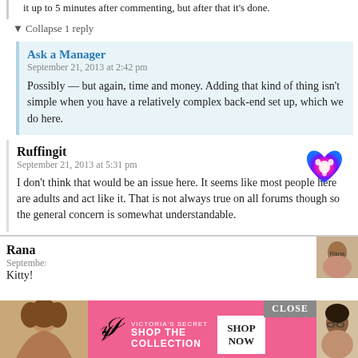it up to 5 minutes after commenting, but after that it's done.
▼ Collapse 1 reply
Ask a Manager
September 21, 2013 at 2:42 pm
Possibly — but again, time and money. Adding that kind of thing isn't simple when you have a relatively complex back-end set up, which we do here.
Ruffingit
September 21, 2013 at 5:31 pm
I don't think that would be an issue here. It seems like most people here are adults and act like it. That is not always true on all forums though so the general concern is somewhat understandable.
Rana
September
Kitty!
[Figure (infographic): Victoria's Secret advertisement banner with pink background, VS logo, model photo, SHOP THE COLLECTION text, SHOP NOW button, and CLOSE button]